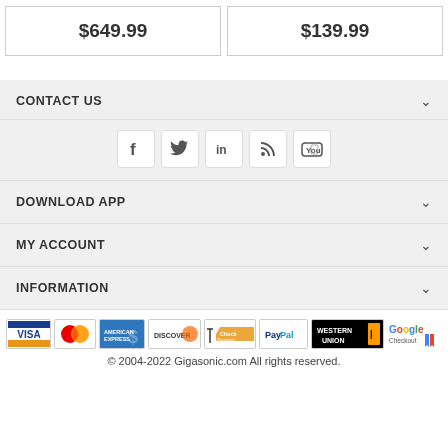$649.99
$139.99
CONTACT US
[Figure (infographic): Social media icons: Facebook, Twitter, LinkedIn, RSS, YouTube]
DOWNLOAD APP
MY ACCOUNT
INFORMATION
[Figure (infographic): Payment method icons: Visa, Mastercard, American Express, Discover, Check Payment, PayPal, Western Union, Google Checkout]
© 2004-2022 Gigasonic.com All rights reserved.